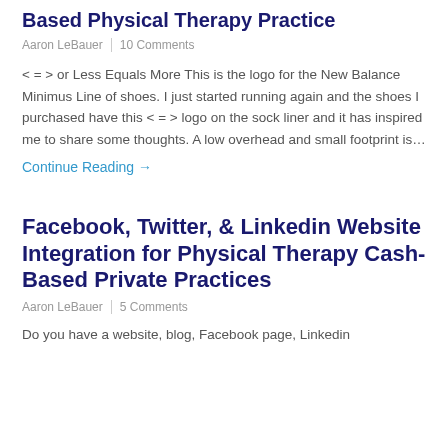Based Physical Therapy Practice
Aaron LeBauer  |  10 Comments
< = > or Less Equals More This is the logo for the New Balance Minimus Line of shoes. I just started running again and the shoes I purchased have this < = > logo on the sock liner and it has inspired me to share some thoughts. A low overhead and small footprint is…
Continue Reading →
Facebook, Twitter, & Linkedin Website Integration for Physical Therapy Cash-Based Private Practices
Aaron LeBauer  |  5 Comments
Do you have a website, blog, Facebook page, Linkedin